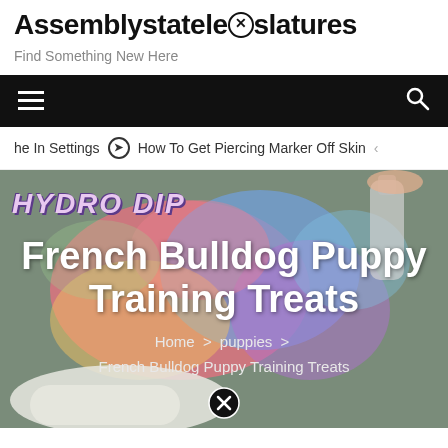Assemblystatele⊗slatures
Find Something New Here
[Figure (screenshot): Black navigation bar with hamburger menu icon on the left and search icon on the right]
he In Settings  ➔  How To Get Piercing Marker Off Skin
[Figure (photo): Hero image showing hydro dip sneaker customization with colorful spray paint, overlaid with text 'French Bulldog Puppy Training Treats' and breadcrumb navigation 'Home > puppies > French Bulldog Puppy Training Treats']